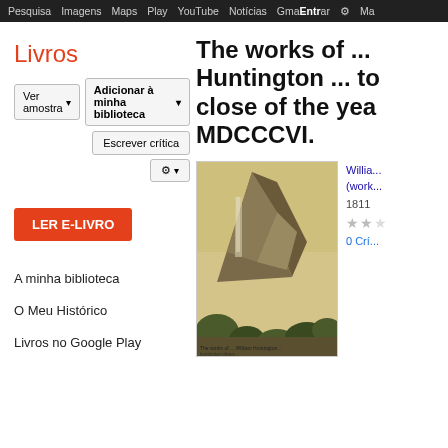Pesquisa  Imagens  Maps  Play  YouTube  Notícias  Gmail  Entrar  ⚙
Livros
Ver amostra ▾
Adicionar à minha biblioteca ▾
Escrever crítica
LER E-LIVRO
A minha biblioteca
O Meu Histórico
Livros no Google Play
The works of ... Huntington ... to close of the year MDCCCVI.
[Figure (illustration): Sepia-toned engraving of a mountainous landscape with a large rocky peak, waterfall, and vegetation in the foreground. Caption reads 'The works of... William Huntington...']
Willia... (work...
1811
★★☆☆☆
0 Crí...